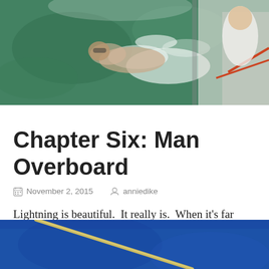[Figure (photo): Aerial/overhead photo of a person swimming in green water next to a boat, with another person visible on the boat deck.]
Chapter Six: Man Overboard
November 2, 2015   anniedike
Lightning is beautiful.  It really is.  When it's far away and you can just watch it and wonder about the illusive static forces that are causing such shocking white streaks in the sky.
[Figure (photo): Bottom portion of a photo showing blue fabric/material and a metal rod or pole.]